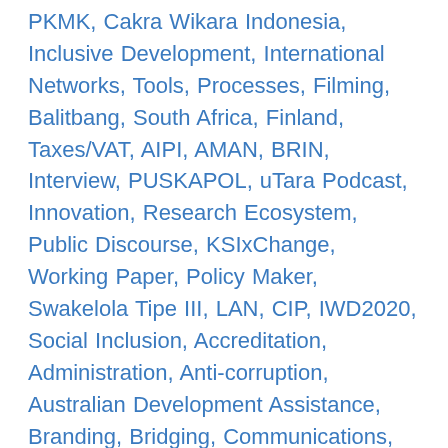PKMK, Cakra Wikara Indonesia, Inclusive Development, International Networks, Tools, Processes, Filming, Balitbang, South Africa, Finland, Taxes/VAT, AIPI, AMAN, BRIN, Interview, PUSKAPOL, uTara Podcast, Innovation, Research Ecosystem, Public Discourse, KSIxChange, Working Paper, Policy Maker, Swakelola Tipe III, LAN, CIP, IWD2020, Social Inclusion, Accreditation, Administration, Anti-corruption, Australian Development Assistance, Branding, Bridging, Communications, Community Center, Community of Practice, Community Representative, Consortium, Contract Management, Contribution, Core Funding, Cross-cutting, Demand, Events, Terms of Reference, Theory of Change, Sectoral, Survey, Sustainability, New Zealand, Intermediaries, Supply, Infographic, Health Insurance Coverage, Health Service Providers, Disaster Management, Agriculture, DIPI, Children, KRISNA, School Facilities, Forestry, BIGS, Ministry of Home Affairs, Budgeting, Procurement Plan, Fisheries, Marine, Political Rights...